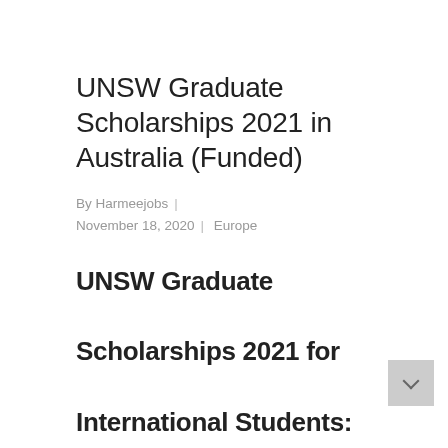UNSW Graduate Scholarships 2021 in Australia (Funded)
By Harmeejobs  |  November 18, 2020  |  Europe
UNSW Graduate Scholarships 2021 for International Students:
Applications are invited to apply for